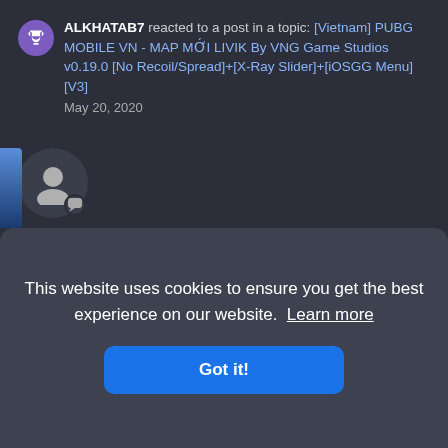ALKHATAB7 reacted to a post in a topic: [Vietnam] PUBG MOBILE VN - MAP MỚI LIVIK By VNG Game Studios v0.19.0 [No Recoil/Spread]+[X-Ray Slider]+[iOSGG Menu] [V3]
May 20, 2020
[Figure (illustration): User avatar: dark circular avatar with white silhouette person icon and small chat bubble indicator]
VIP [KR/JP] PUBG MOBILE ██████ By PUBG Corporation v0.19.0 [No Recoil/Spread]+[X-Ray Slider]+[iOSGG Menu] [V3]
ALKHATAB7 replied to 🍎 Cz1993's topic in
VIP Non-Jailbreak Hacks
This website uses cookies to ensure you get the best experience on our website.  Learn more
Got it!